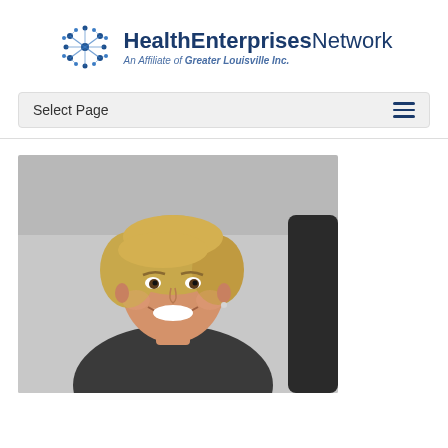[Figure (logo): HealthEnterprisesNetwork logo — network icon on the left, bold text 'HealthEnterprises' followed by 'Network' in regular weight, subtitle 'An Affiliate of Greater Louisville Inc.' in italic blue]
Select Page
[Figure (photo): Professional headshot of a smiling blonde woman wearing a dark patterned jacket, photographed against a grey background]